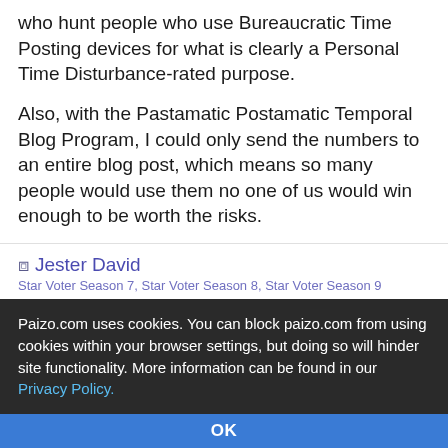who hunt people who use Bureaucratic Time Posting devices for what is clearly a Personal Time Disturbance-rated purpose.
Also, with the Pastamatic Postamatic Temporal Blog Program, I could only send the numbers to an entire blog post, which means so many people would use them no one of us would win enough to be worth the risks.
Jester David
Star Voter Season 7, Star Voter Season 8, Star Voter Season 9
Aug 31, 2015, 12:45 pm
2 people marked this as a favorite.
I see you shiver with anticp-
Paizo.com uses cookies. You can block paizo.com from using cookies within your browser settings, but doing so will hinder site functionality. More information can be found in our Privacy Policy.
OK